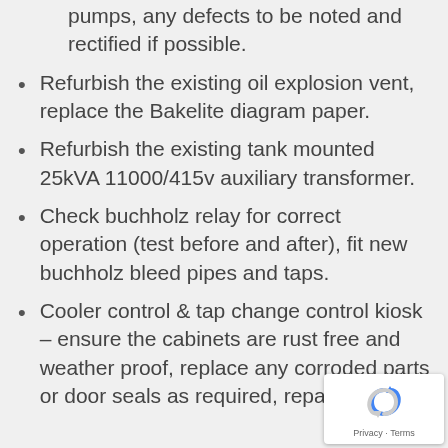iv. Testing of the fans and oil pumps, any defects to be noted and rectified if possible.
Refurbish the existing oil explosion vent, replace the Bakelite diagram paper.
Refurbish the existing tank mounted 25kVA 11000/415v auxiliary transformer.
Check buchholz relay for correct operation (test before and after), fit new buchholz bleed pipes and taps.
Cooler control & tap change control kiosk – ensure the cabinets are rust free and weather proof, replace any corroded parts or door seals as required, repaint inside